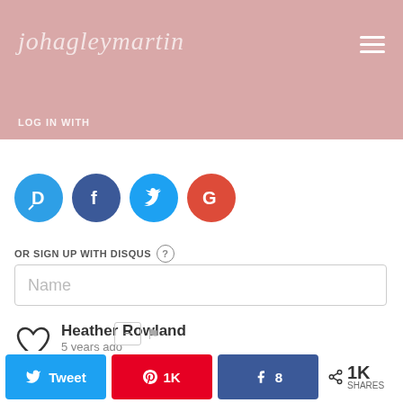johagleymartin — navigation header with hamburger menu
LOG IN WITH
[Figure (screenshot): Social login icons: Disqus (blue D), Facebook (dark blue F), Twitter (light blue bird), Google (red G)]
OR SIGN UP WITH DISQUS ?
Name (input field placeholder)
Heather Rowland
5 years ago
This is such a lovely quote, truly inspirational. It really made me stop and think about life because we spend so much time
Privacy & Cookies: This site uses cookies. By continuing to use this website, you agree to their use.
To find out more, including how to control cookies, see here:
Twitter share  |  Pinterest 1K  |  Facebook 8  |  Share 1K SHARES